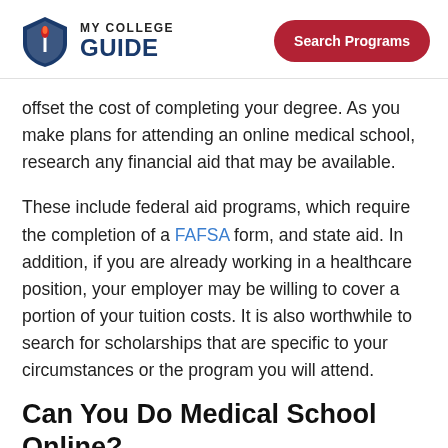[Figure (logo): My College Guide logo with shield icon and text]
Search Programs
offset the cost of completing your degree. As you make plans for attending an online medical school, research any financial aid that may be available.
These include federal aid programs, which require the completion of a FAFSA form, and state aid. In addition, if you are already working in a healthcare position, your employer may be willing to cover a portion of your tuition costs. It is also worthwhile to search for scholarships that are specific to your circumstances or the program you will attend.
Can You Do Medical School Online?